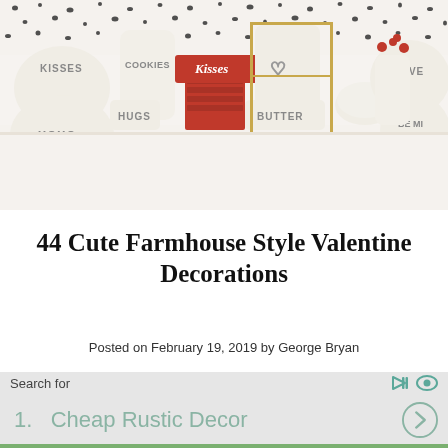[Figure (photo): Farmhouse style Valentine's Day kitchen decor display with white ceramic jars labeled KISSES, COOKIES, HUGS, BUTTER, heart-shaped dishes labeled XOXO, HUGS, and LOVE, a red Kisses sign, red plates, and a dalmatian-print black and white wallpaper background.]
44 Cute Farmhouse Style Valentine Decorations
Posted on February 19, 2019 by George Bryan
Search for
1.  Cheap Rustic Decor